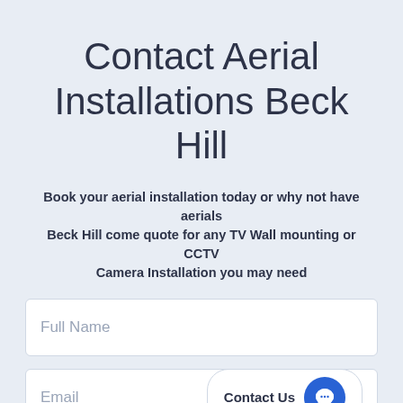Contact Aerial Installations Beck Hill
Book your aerial installation today or why not have aerials Beck Hill come quote for any TV Wall mounting or CCTV Camera Installation you may need
[Figure (screenshot): Web contact form with Full Name field, Email field with Contact Us button and chat icon, and a partially visible third field at bottom]